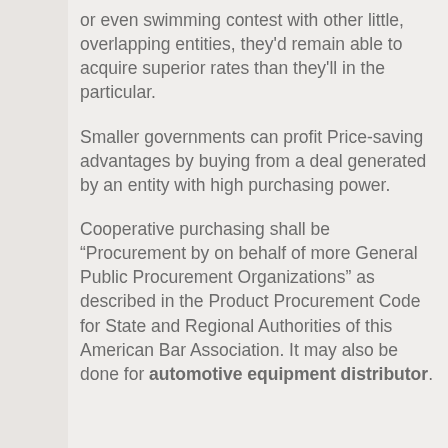or even swimming contest with other little, overlapping entities, they'd remain able to acquire superior rates than they'll in the particular.
Smaller governments can profit Price-saving advantages by buying from a deal generated by an entity with high purchasing power.
Cooperative purchasing shall be “Procurement by on behalf of more General Public Procurement Organizations” as described in the Product Procurement Code for State and Regional Authorities of this American Bar Association. It may also be done for automotive equipment distributor.